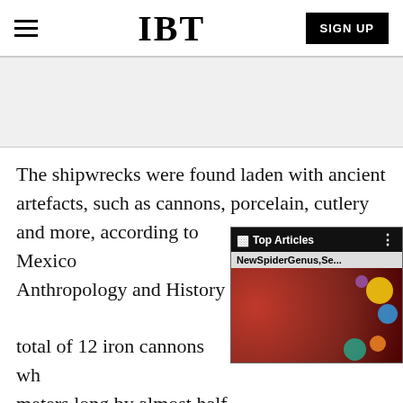IBT  SIGN UP
[Figure (other): Gray advertisement banner area]
The shipwrecks were found laden with ancient artefacts, such as cannons, porcelain, cutlery and more, according to Mexico's National Institute of Anthropology and History (INAH). There were a total of 12 iron cannons which measured about 2 meters long by almost half a meter wide, and they bear a resemblance to the artillery of the Dutch war frigates that sailed the West Indies in the 19th
[Figure (screenshot): Top Articles overlay widget with NewSpiderGenus,Se... headline and colorful background image]